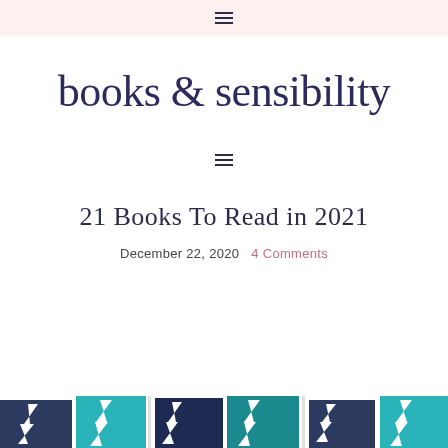≡
books & sensibility
≡
21 Books To Read in 2021
December 22, 2020  4 Comments
[Figure (illustration): Partial view of colorful book covers at the bottom of the page, showing navy blue, teal, and dark teal book spines/covers with decorative elements.]